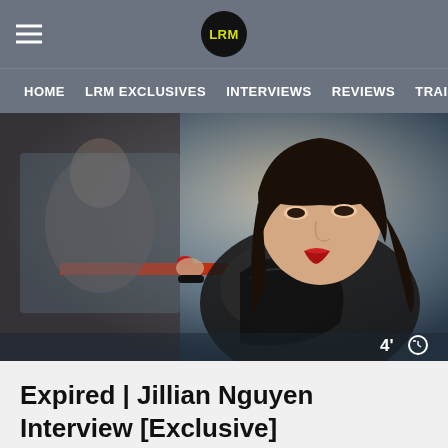LRM
HOME   LRM EXCLUSIVES   INTERVIEWS   REVIEWS   TRAILERS
[Figure (photo): A young Asian woman with dark hair and red lipstick wearing a black leather jacket looks to the side, with a blurred male figure visible in the background. Time indicator showing 4 minutes read time in the bottom-right corner.]
Expired | Jillian Nguyen Interview [Exclusive]
Gig Patta